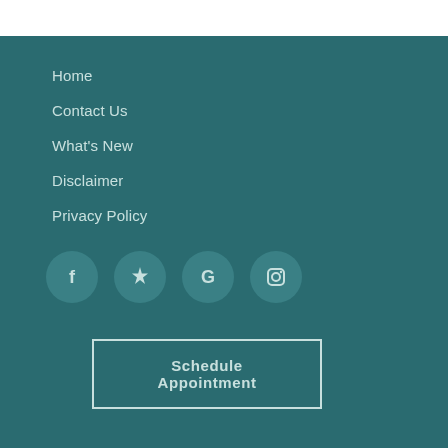Home
Contact Us
What's New
Disclaimer
Privacy Policy
[Figure (infographic): Row of four circular social media icons: Facebook (f), Yelp (burst star), Google (G), Instagram (camera)]
Schedule Appointment